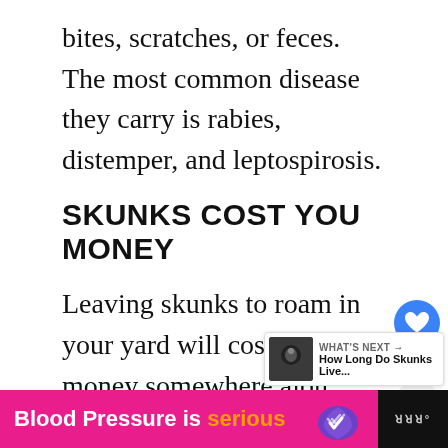bites, scratches, or feces. The most common disease they carry is rabies, distemper, and leptospirosis.
SKUNKS COST YOU MONEY
Leaving skunks to roam in your yard will cost you money somewhere along the line. That may be from cleaning products, vet bills, medical bills, or clean-up services. Even if you deal with some of these issues without professional services, it will still cost y
[Figure (infographic): Blood Pressure is serious advertisement banner with heart logo]
[Figure (infographic): What's Next card showing How Long Do Skunks Live... with thumbnail]
[Figure (infographic): Social sidebar with heart button (2 likes) and share button]